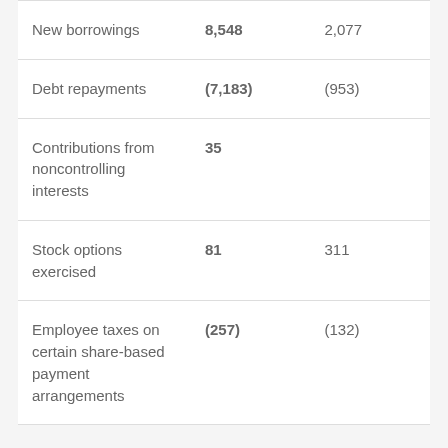| New borrowings | 8,548 | 2,077 |
| Debt repayments | (7,183) | (953) |
| Contributions from noncontrolling interests | 35 |  |
| Stock options exercised | 81 | 311 |
| Employee taxes on certain share-based payment arrangements | (257) | (132) |